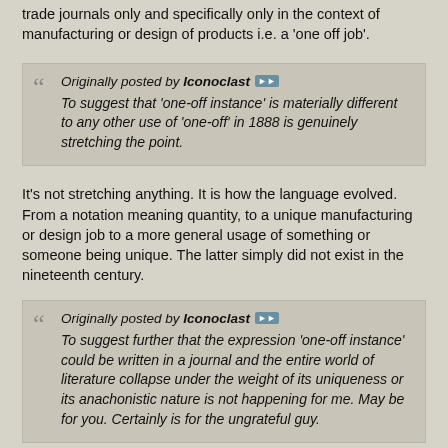trade journals only and specifically only in the context of manufacturing or design of products i.e. a 'one off job'.
Originally posted by Iconoclast
To suggest that 'one-off instance' is materially different to any other use of 'one-off' in 1888 is genuinely stretching the point.
It's not stretching anything. It is how the language evolved. From a notation meaning quantity, to a unique manufacturing or design job to a more general usage of something or someone being unique. The latter simply did not exist in the nineteenth century.
Originally posted by Iconoclast
To suggest further that the expression 'one-off instance' could be written in a journal and the entire world of literature collapse under the weight of its uniqueness or its anachonistic nature is not happening for me. May be for you. Certainly is for the ungrateful guy.
That is not the suggestion. The suggestion is that is impossible for 'one off instance' to have been written in 1888.
'ungrateful guy' is childish, incidentally, considering you never did anything for me.
Originally posted by Iconoclast